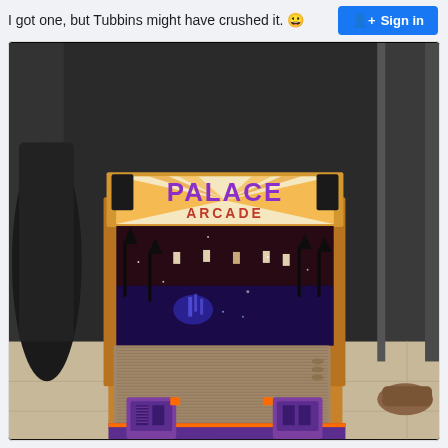I got one, but Tubbins might have crushed it. 😀
[Figure (photo): A cardboard cat scratcher shaped like a Palace Arcade (Stranger Things themed) arcade cabinet. It has a colorful marquee reading 'PALACE ARCADE' with Stranger Things pixel art imagery on the back panel. The cardboard scratcher pad is on the top surface. The cabinet is sitting on a tile floor against a dark wall.]
Sign in